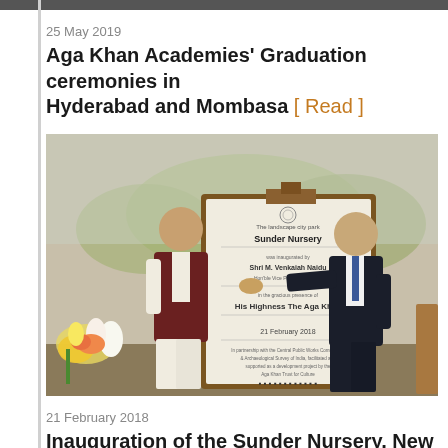25 May 2019
Aga Khan Academies' Graduation ceremonies in Hyderabad and Mombasa [ Read ]
[Figure (photo): Two men shaking hands beside a large commemorative plaque reading 'Sunder Nursery', with flowers visible in the background.]
21 February 2018
Inauguration of the Sunder Nursery, New Delhi [ Read ]